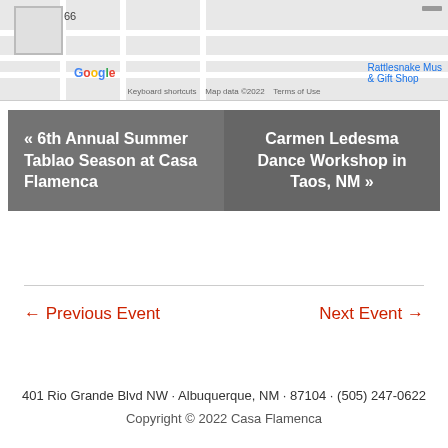[Figure (map): Google Maps partial view showing Rattlesnake Museum & Gift Shop location with road 66, Google logo, keyboard shortcuts, map data ©2022, and Terms of Use.]
« 6th Annual Summer Tablao Season at Casa Flamenca
Carmen Ledesma Dance Workshop in Taos, NM »
← Previous Event
Next Event →
401 Rio Grande Blvd NW · Albuquerque, NM · 87104 · (505) 247-0622
Copyright © 2022 Casa Flamenca